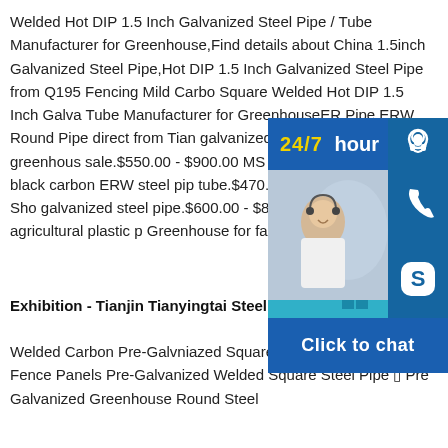Welded Hot DIP 1.5 Inch Galvanized Steel Pipe / Tube Manufacturer for Greenhouse,Find details about China 1.5inch Galvanized Steel Pipe,Hot DIP 1.5 Inch Galvanized Steel Pipe from Q195 Fencing Mild Carbon Square Welded Hot DIP 1.5 Inch Galvanized Steel Pipe / Tube Manufacturer for GreenhouseERW Pipe,ERW Round Pipe direct from Tianjin. galvanized steel pipe used greenhouse for sale.$550.00 - $900.00 MS ERW Welded Pipe/Tube black carbon ERW steel pipe tube.$470.00 5 Tons (Min.Order) Shou galvanized steel pipe.$600.00 - $800.00 (Min.Order) used agricultural plastic po Greenhouse for farm
[Figure (photo): Chat widget overlay showing a customer service representative, with 24/7 hour banner, headset icon, phone icon, Skype icon, and Click to chat button]
Exhibition - Tianjin Tianyingtai Steel Pipe Co.Ltd
Welded Carbon Pre-Galvniazed Square Steel Pipe [] Top Product Fence Panels Pre-Galvanized Welded Square Steel Pipe [] Pre Galvanized Greenhouse Round Steel